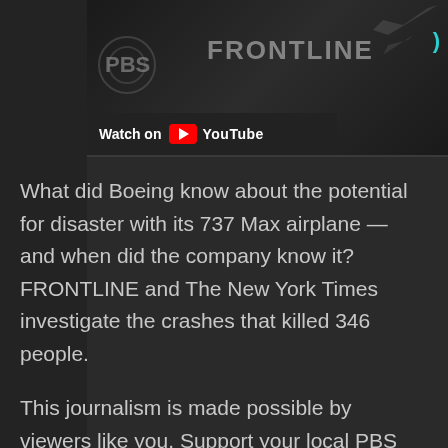[Figure (screenshot): PBS Frontline YouTube video thumbnail with 'Watch on YouTube' button overlay. Shows PBS and FRONTLINE logos with airplane silhouette.]
What did Boeing know about the potential for disaster with its 737 Max airplane — and when did the company know it? FRONTLINE and The New York Times investigate the crashes that killed 346 people.
This journalism is made possible by viewers like you. Support your local PBS station here:
http://www.pbs.org/donate